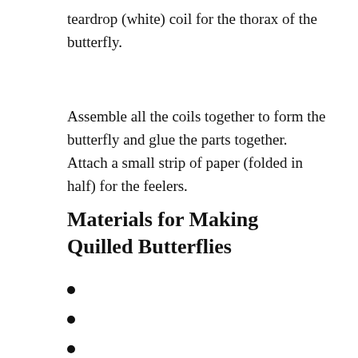teardrop (white) coil for the thorax of the butterfly.
Assemble all the coils together to form the butterfly and glue the parts together. Attach a small strip of paper (folded in half) for the feelers.
Materials for Making Quilled Butterflies